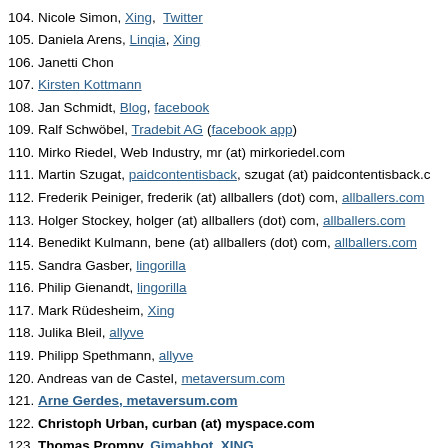104. Nicole Simon, Xing, Twitter
105. Daniela Arens, Linqia, Xing
106. Janetti Chon
107. Kirsten Kottmann
108. Jan Schmidt, Blog, facebook
109. Ralf Schwöbel, Tradebit AG (facebook app)
110. Mirko Riedel, Web Industry, mr (at) mirkoriedel.com
111. Martin Szugat, paidcontentisback, szugat (at) paidcontentisback.c
112. Frederik Peiniger, frederik (at) allballers (dot) com, allballers.com
113. Holger Stockey, holger (at) allballers (dot) com, allballers.com
114. Benedikt Kulmann, bene (at) allballers (dot) com, allballers.com
115. Sandra Gasber, lingorilla
116. Philip Gienandt, lingorilla
117. Mark Rüdesheim, Xing
118. Julika Bleil, allyve
119. Philipp Spethmann, allyve
120. Andreas van de Castel, metaversum.com
121. Arne Gerdes, metaversum.com
122. Christoph Urban, curban (at) myspace.com
123. Thomas Promny, Gimahhot, XING
124. Karsten Wysk, meinSport.de, XING
125. Martin Sinner, Idealo, Flug.idealo.de, XING
126. Torsten Panzer, ad publica, XING